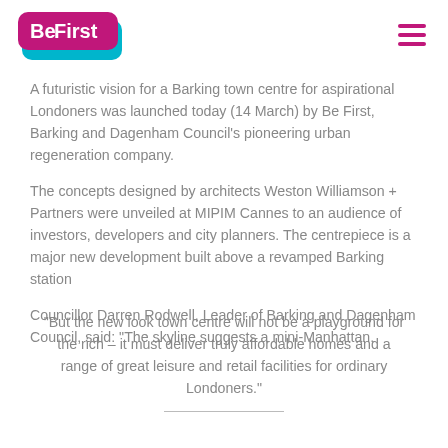[Figure (logo): Be First logo - purple/magenta rounded rectangle with white bold text 'BeFirst' and a cyan/teal shape beneath]
A futuristic vision for a Barking town centre for aspirational Londoners was launched today (14 March) by Be First, Barking and Dagenham Council's pioneering urban regeneration company.
The concepts designed by architects Weston Williamson + Partners were unveiled at MIPIM Cannes to an audience of investors, developers and city planners. The centrepiece is a major new development built above a revamped Barking station
Councillor Darren Rodwell, Leader of Barking and Dagenham Council, said: "The skyline suggests a mini-Manhattan.
"But the new look town centre will not be a playground for the rich – it must deliver truly affordable homes and a range of great leisure and retail facilities for ordinary Londoners."